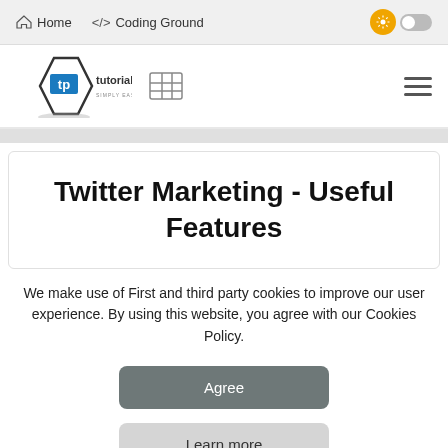Home  />  Coding Ground
[Figure (logo): Tutorialspoint logo - diamond shape with book icon, text 'tutorialspoint SIMPLY EASY LEARNING']
Twitter Marketing - Useful Features
We make use of First and third party cookies to improve our user experience. By using this website, you agree with our Cookies Policy.
Agree
Learn more